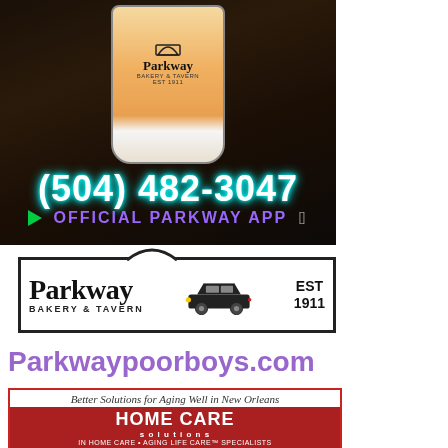[Figure (photo): Parkway Bakery & Tavern drink cup with orange beverage, phone number (504) 482-3047 and Official Parkway App with Play Store and Apple icons]
[Figure (logo): Parkway Bakery & Tavern logo with vintage car, EST 1911, inside rectangular border with arch on top]
Parkwaypoorboys.com
[Figure (illustration): Home Care Solutions advertisement - Better Solutions for Aging Well in New Orleans, HOME CARE solutions, IN HOME CARE • AGING LIFE CARE™ SPECIALISTS]